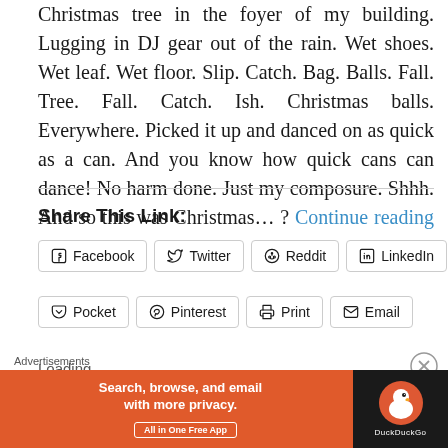Christmas tree in the foyer of my building. Lugging in DJ gear out of the rain. Wet shoes. Wet leaf. Wet floor. Slip. Catch. Bag. Balls. Fall. Tree. Fall. Catch. Ish. Christmas balls. Everywhere. Picked it up and danced on as quick as a can. And you know how quick cans can dance! No harm done. Just my composure. Shhh. And so this was Christmas… ? Continue reading →
Share This Link:
Facebook  Twitter  Reddit  LinkedIn  Tumblr  Pocket  Pinterest  Print  Email
Loading
Advertisements
[Figure (infographic): DuckDuckGo advertisement banner: orange background with text 'Search, browse, and email with more privacy. All in One Free App' and DuckDuckGo logo on black background.]